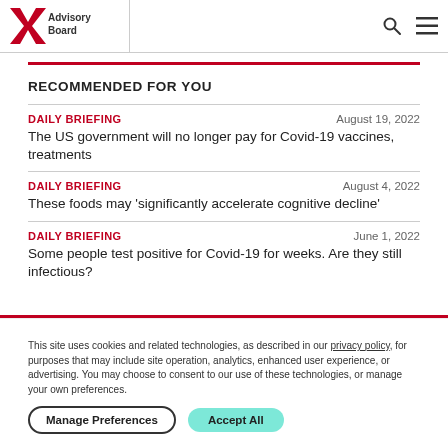Advisory Board
RECOMMENDED FOR YOU
DAILY BRIEFING | August 19, 2022 | The US government will no longer pay for Covid-19 vaccines, treatments
DAILY BRIEFING | August 4, 2022 | These foods may 'significantly accelerate cognitive decline'
DAILY BRIEFING | June 1, 2022 | Some people test positive for Covid-19 for weeks. Are they still infectious?
This site uses cookies and related technologies, as described in our privacy policy, for purposes that may include site operation, analytics, enhanced user experience, or advertising. You may choose to consent to our use of these technologies, or manage your own preferences.